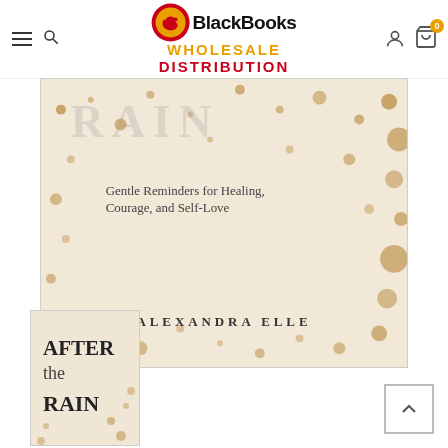[Figure (logo): BlackBooks Wholesale Distribution logo with red circle containing elephant icon, black bold text 'BlackBooks', orange 'WHOLESALE', red 'DISTRIBUTION']
[Figure (photo): Book cover of 'After the Rain' by Alexandra Elle - cream/beige background with brown speckles, subtitle 'Gentle Reminders for Healing, Courage, and Self-Love']
Gentle Reminders for Healing, Courage, and Self-Love
ALEXANDRA ELLE
[Figure (photo): Thumbnail of 'After the Rain' book cover showing title text on speckled beige background]